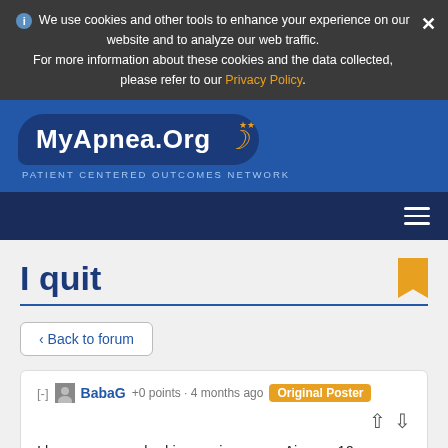We use cookies and other tools to enhance your experience on our website and to analyze our web traffic. For more information about these cookies and the data collected, please refer to our Privacy Policy.
[Figure (logo): MyApnea.Org Patient Centered Outcomes Network logo — white text in dark blue speech-bubble shape with yellow crescent moon and stars, on blue background]
I quit
‹ Back to forum
[-] BabaG +0 points · 4 months ago Original Poster
I became a very bad insomniac on my Airense 10